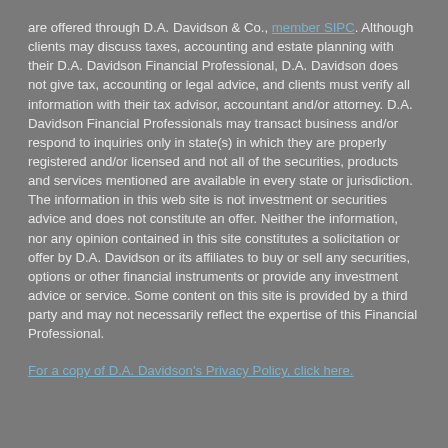are offered through D.A. Davidson & Co., member SIPC. Although clients may discuss taxes, accounting and estate planning with their D.A. Davidson Financial Professional, D.A. Davidson does not give tax, accounting or legal advice, and clients must verify all information with their tax advisor, accountant and/or attorney. D.A. Davidson Financial Professionals may transact business and/or respond to inquiries only in state(s) in which they are properly registered and/or licensed and not all of the securities, products and services mentioned are available in every state or jurisdiction. The information in this web site is not investment or securities advice and does not constitute an offer. Neither the information, nor any opinion contained in this site constitutes a solicitation or offer by D.A. Davidson or its affiliates to buy or sell any securities, options or other financial instruments or provide any investment advice or service. Some content on this site is provided by a third party and may not necessarily reflect the expertise of this Financial Professional.
For a copy of D.A. Davidson's Privacy Policy, click here.